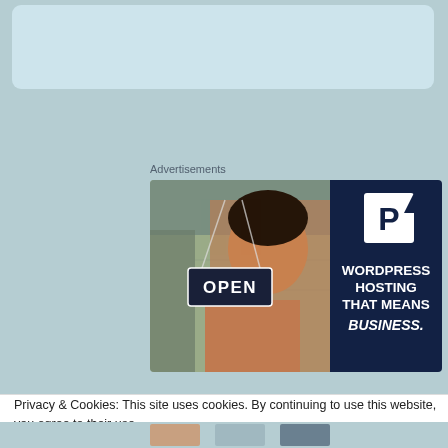[Figure (screenshot): Top light blue rounded card area at the top of the page]
Advertisements
[Figure (photo): Advertisement banner showing a smiling woman holding an OPEN sign in a shop window on the left half, and a dark navy blue right half with a white P logo and text: WORDPRESS HOSTING THAT MEANS BUSINESS.]
Privacy & Cookies: This site uses cookies. By continuing to use this website, you agree to their use.
To find out more, including how to control cookies, see here: Cookie Policy
Close and accept